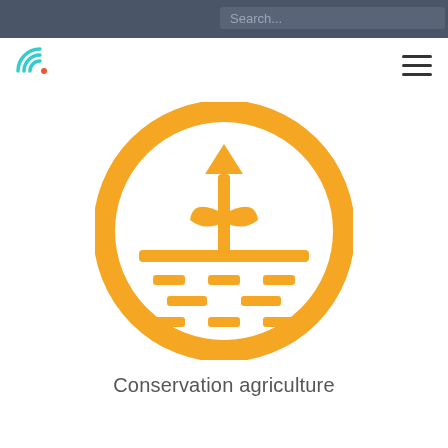Search...
[Figure (logo): Circular logo with concentric arcs and a red dot]
[Figure (illustration): Orange circular icon containing a plant with upward arrow growing through a horizontal ground line, with dashed soil lines below]
Conservation agriculture